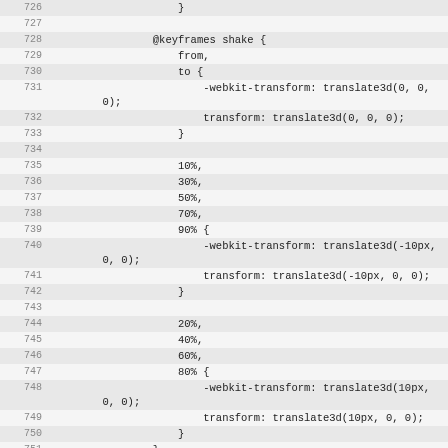Code listing lines 726-753, CSS keyframes and animation code
726    }
727
728    @keyframes shake {
729        from,
730        to {
731            -webkit-transform: translate3d(0, 0, 0);
732            transform: translate3d(0, 0, 0);
733        }
734
735        10%,
736        30%,
737        50%,
738        70%,
739        90% {
740            -webkit-transform: translate3d(-10px, 0, 0);
741            transform: translate3d(-10px, 0, 0);
742        }
743
744        20%,
745        40%,
746        60%,
747        80% {
748            -webkit-transform: translate3d(10px, 0, 0);
749            transform: translate3d(10px, 0, 0);
750        }
751    }
752
753    .sfba-attention-effect-shake.animation-start #sfba-form2-button {